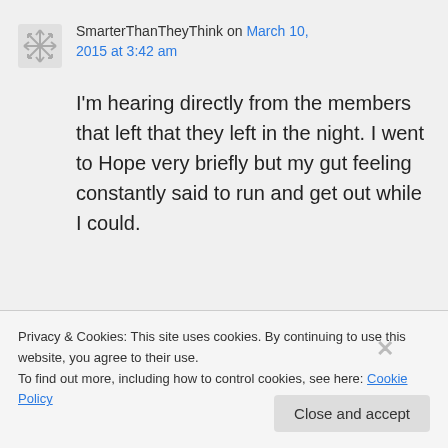SmarterThanTheyThink on March 10, 2015 at 3:42 am
I'm hearing directly from the members that left that they left in the night. I went to Hope very briefly but my gut feeling constantly said to run and get out while I could.
Privacy & Cookies: This site uses cookies. By continuing to use this website, you agree to their use. To find out more, including how to control cookies, see here: Cookie Policy
Close and accept